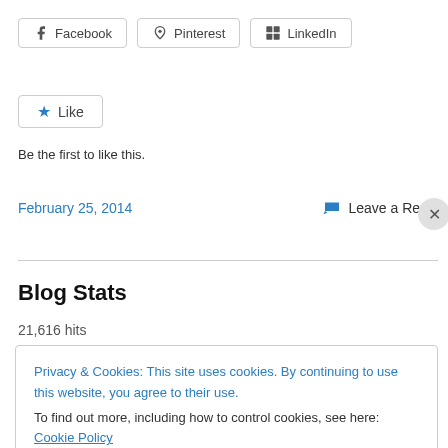[Figure (other): Social sharing buttons: Facebook, Pinterest, LinkedIn]
[Figure (other): Like button with star icon]
Be the first to like this.
February 25, 2014
Leave a Reply
Blog Stats
21,616 hits
Privacy & Cookies: This site uses cookies. By continuing to use this website, you agree to their use.
To find out more, including how to control cookies, see here: Cookie Policy
Close and accept